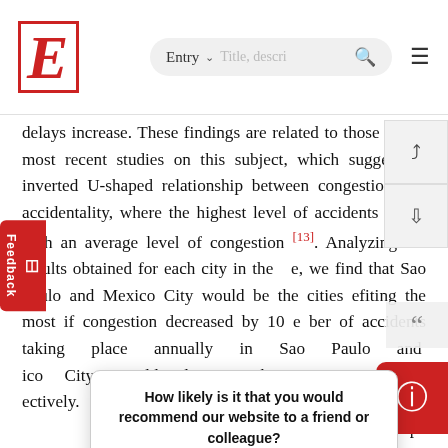E  Entry  [search bar]  [menu]
delays increase. These findings are related to those of the most recent studies on this subject, which suggest an inverted U-shaped relationship between congestion and accidentality, where the highest level of accidents is associated with an average level of congestion [13]. Analyzing the results obtained for each city in the sample, we find that Sao Paulo and Mexico City would be the cities benefiting the most if congestion decreased by 10%, since the number of accidents taking place annually in Sao Paulo and Mexico City would decrease by 5.4% and 4.6%, respectively. Instead, San Salvador, the city with the highest per capita ... analyzed in this paper ... the number of ... absolute number of ... the area
How likely is it that you would recommend our website to a friend or colleague?
Reply